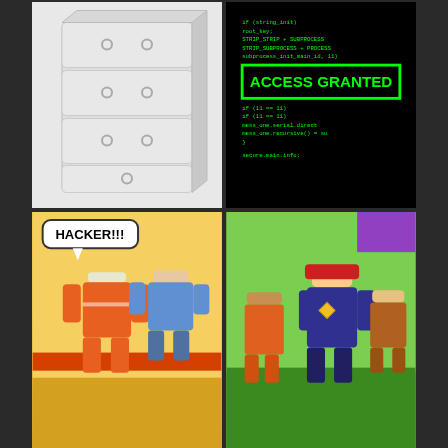[Figure (screenshot): White dresser/chest of drawers 3D render on white background]
[Figure (screenshot): Terminal screen with green text and ACCESS GRANTED message in green box on black background]
[Figure (screenshot): Roblox game scene with prisoner character and hacker character, speech bubble saying HACKER!!!]
[Figure (screenshot): Animated characters scene with female pirate/redhead character and Roblox-style characters on green field]
[Figure (screenshot): Roblox studio/game editor screenshot showing ROBLOX interface with 3D blue text on green platform]
[Figure (screenshot): Roblox account profile with text I HACKED YOUR ACCOUNT showing friends/followers count 27, with yellow arrow pointing to followers]
[Figure (screenshot): White dresser/chest of drawers 3D render on white background (duplicate)]
[Figure (screenshot): White dresser/chest of drawers 3D render on white background (duplicate 2)]
[Figure (screenshot): Partial view of bottom row images including what appears to be Roblox logo]